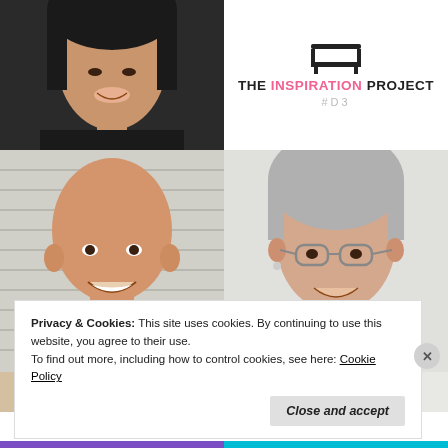[Figure (photo): Woman with dark hair smiling, dark blazer, top-left photo]
[Figure (logo): The Inspiration Project logo with chair icon, text reading THE INSPIRATION PROJECT #D3]
[Figure (photo): Bald man smiling wearing blue polo shirt]
[Figure (photo): Older woman with short grey hair and glasses, wearing black top and grey scarf]
[Figure (photo): Partial photo at bottom row, cropped]
Privacy & Cookies: This site uses cookies. By continuing to use this website, you agree to their use.
To find out more, including how to control cookies, see here: Cookie Policy
Close and accept